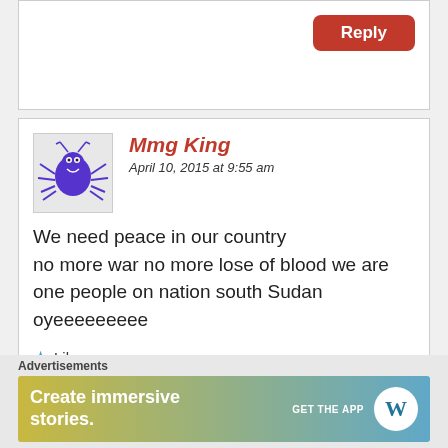[Figure (other): Reply button at top right of previous comment card]
Mmg King
April 10, 2015 at 9:55 am
[Figure (illustration): Avatar image of a cartoon blue/purple spider with a smiley face]
We need peace in our country no more war no more lose of blood we are one people on nation south Sudan oyeeeeeeeee
Like
[Figure (other): Reply button at bottom right of comment card]
[Figure (other): Close/X circle button at bottom right]
Advertisements
[Figure (other): WordPress advertisement banner: Create immersive stories. GET THE APP with WordPress logo]